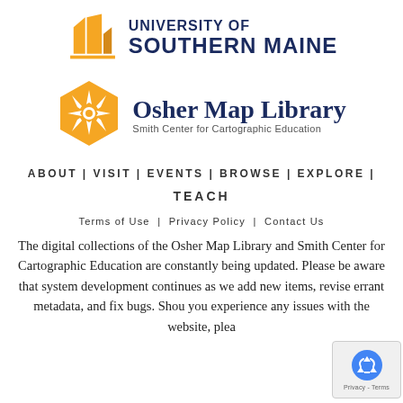[Figure (logo): University of Southern Maine logo with stylized building/sails icon in gold and navy, accompanied by text 'UNIVERSITY OF SOUTHERN MAINE']
[Figure (logo): Osher Map Library and Smith Center for Cartographic Education logo: gold hexagon with compass rose/star, text 'Osher Map Library' in navy, subtitle 'Smith Center for Cartographic Education']
ABOUT | VISIT | EVENTS | BROWSE | EXPLORE |
TEACH
Terms of Use | Privacy Policy | Contact Us
The digital collections of the Osher Map Library and Smith Center for Cartographic Education are constantly being updated. Please be aware that system development continues as we add new items, revise errant metadata, and fix bugs. Should you experience any issues with the website, please
[Figure (other): reCAPTCHA widget overlay in bottom-right corner showing recycling arrows icon and 'Privacy - Terms' text]